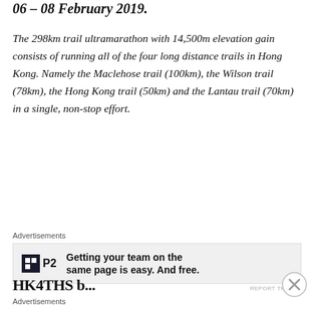06 – 08 February 2019.
The 298km trail ultramarathon with 14,500m elevation gain consists of running all of the four long distance trails in Hong Kong. Namely the Maclehose trail (100km), the Wilson trail (78km), the Hong Kong trail (50km) and the Lantau trail (70km) in a single, non-stop effort.
Advertisements
[Figure (other): Advertisement banner for P2 - 'Getting your team on the same page is easy. And free.']
REPORT THIS AD
HK4THS b...
Advertisements